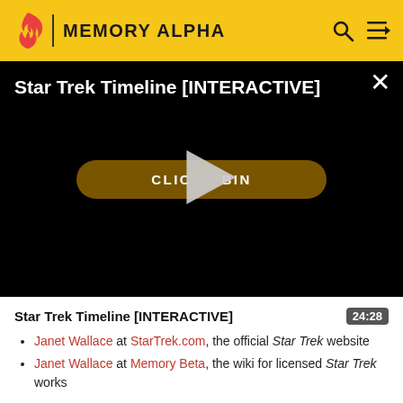MEMORY ALPHA
[Figure (screenshot): Video player showing 'Star Trek Timeline [INTERACTIVE]' with a black background, a golden 'CLICK TO BEGIN' button, and a large play triangle overlay. A close (×) button is in the top right.]
Star Trek Timeline [INTERACTIVE]
24:28
Janet Wallace at StarTrek.com, the official Star Trek website
Janet Wallace at Memory Beta, the wiki for licensed Star Trek works